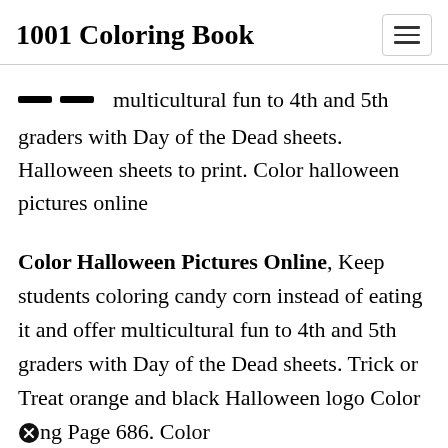1001 Coloring Book
multicultural fun to 4th and 5th graders with Day of the Dead sheets. Halloween sheets to print. Color halloween pictures online
Color Halloween Pictures Online, Keep students coloring candy corn instead of eating it and offer multicultural fun to 4th and 5th graders with Day of the Dead sheets. Trick or Treat orange and black Halloween logo Coloring Page 686. Color